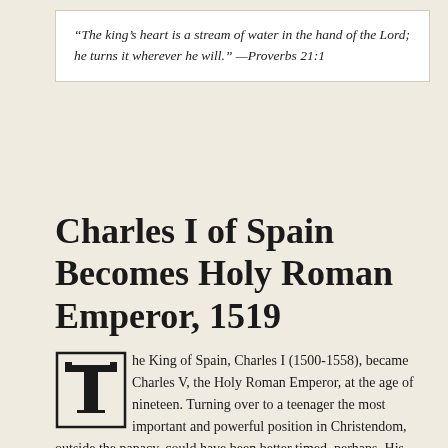“The king’s heart is a stream of water in the hand of the Lord; he turns it wherever he will.” —Proverbs 21:1
Charles I of Spain Becomes Holy Roman Emperor, 1519
The King of Spain, Charles I (1500-1558), became Charles V, the Holy Roman Emperor, at the age of nineteen. Turning over to a teenager the most important and powerful position in Christendom, outside the papacy, could have been better timed, perhaps. His accession to the throne of the Holy Roman Empire in 1519 providentially associated with the controversies and debates with the towering intellect of the heroic and stubborn protesting monk of Saxony, Martin Luther, and all